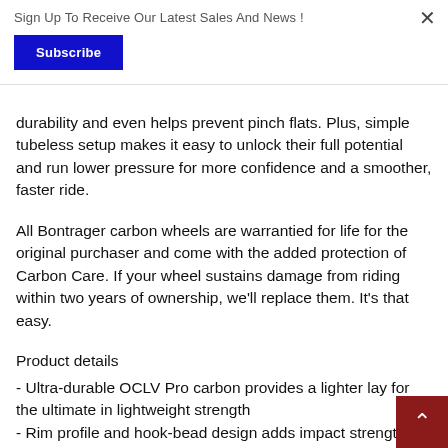Sign Up To Receive Our Latest Sales And News !
Subscribe
durability and even helps prevent pinch flats. Plus, simple tubeless setup makes it easy to unlock their full potential and run lower pressure for more confidence and a smoother, faster ride.
All Bontrager carbon wheels are warrantied for life for the original purchaser and come with the added protection of Carbon Care. If your wheel sustains damage from riding within two years of ownership, we'll replace them. It's that easy.
Product details
- Ultra-durable OCLV Pro carbon provides a lighter lay for the ultimate in lightweight strength
- Rim profile and hook-bead design adds impact strength